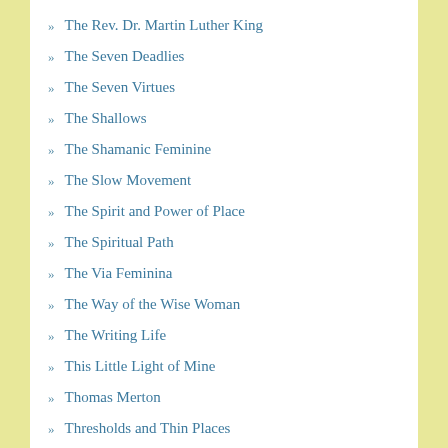The Rev. Dr. Martin Luther King
The Seven Deadlies
The Seven Virtues
The Shallows
The Shamanic Feminine
The Slow Movement
The Spirit and Power of Place
The Spiritual Path
The Via Feminina
The Way of the Wise Woman
The Writing Life
This Little Light of Mine
Thomas Merton
Thresholds and Thin Places
Touch